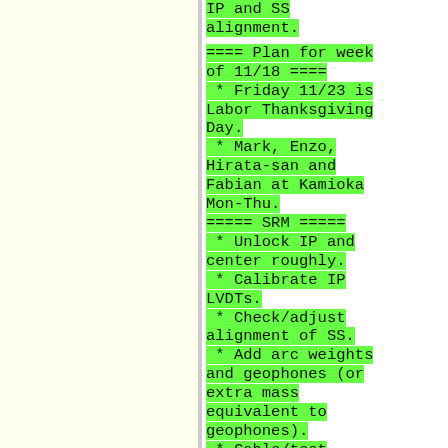IP and SS alignment.
==== Plan for week of 11/18 ====
* Friday 11/23 is Labor Thanksgiving Day.
* Mark, Enzo, Hirata-san and Fabian at Kamioka Mon-Thu.
===== SRM =====
* Unlock IP and center roughly.
* Calibrate IP LVDTs.
* Check/adjust alignment of SS.
* Add arc weights and geophones (or extra mass equivalent to geophones).
* Cable/test geophones.